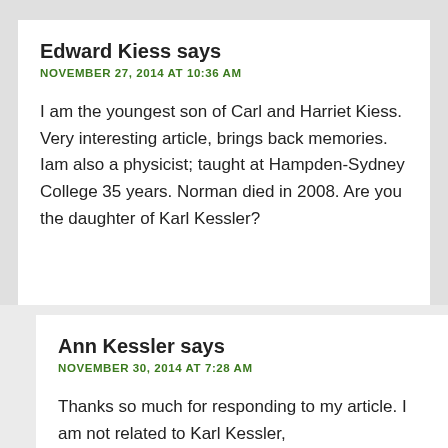Edward Kiess says
NOVEMBER 27, 2014 AT 10:36 AM
I am the youngest son of Carl and Harriet Kiess. Very interesting article, brings back memories. Iam also a physicist; taught at Hampden-Sydney College 35 years. Norman died in 2008. Are you the daughter of Karl Kessler?
Ann Kessler says
NOVEMBER 30, 2014 AT 7:28 AM
Thanks so much for responding to my article. I am not related to Karl Kessler,